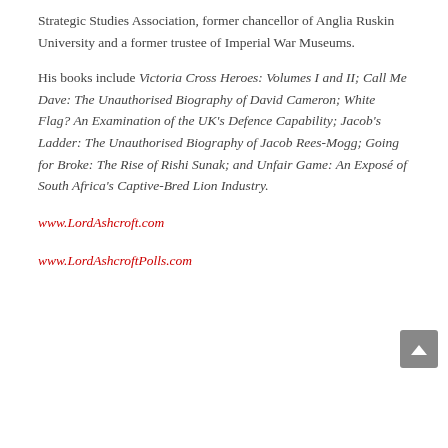Strategic Studies Association, former chancellor of Anglia Ruskin University and a former trustee of Imperial War Museums.
His books include Victoria Cross Heroes: Volumes I and II; Call Me Dave: The Unauthorised Biography of David Cameron; White Flag? An Examination of the UK's Defence Capability; Jacob's Ladder: The Unauthorised Biography of Jacob Rees-Mogg; Going for Broke: The Rise of Rishi Sunak; and Unfair Game: An Exposé of South Africa's Captive-Bred Lion Industry.
www.LordAshcroft.com
www.LordAshcroftPolls.com